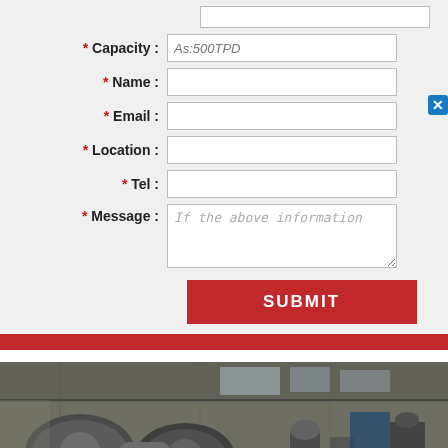[Figure (screenshot): Web contact form with fields: Capacity (placeholder As:500TPD), Name, Email, Location, Tel, Message (placeholder 'If the above information'), and a red SUBMIT button. A red bar runs across the bottom of the form. A close (X) button appears on the right. Below the form is a photograph of an industrial factory floor with heavy machinery including ball mills and mechanical equipment.]
[Figure (photo): Industrial factory floor with large ball mills, rollers, and heavy mechanical equipment in a warehouse setting with natural light coming through windows.]